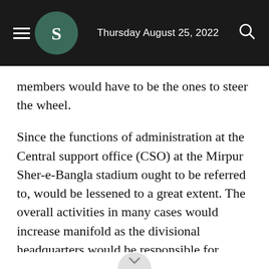Thursday August 25, 2022
members would have to be the ones to steer the wheel.
Since the functions of administration at the Central support office (CSO) at the Mirpur Sher-e-Bangla stadium ought to be referred to, would be lessened to a great extent. The overall activities in many cases would increase manifold as the divisional headquarters would be responsible for organising their own cricket activities. In keeping with the sole purpose of reviving cricket throughout Bangladesh, the functions at the divisional headquarters are to be governed within the constitution.